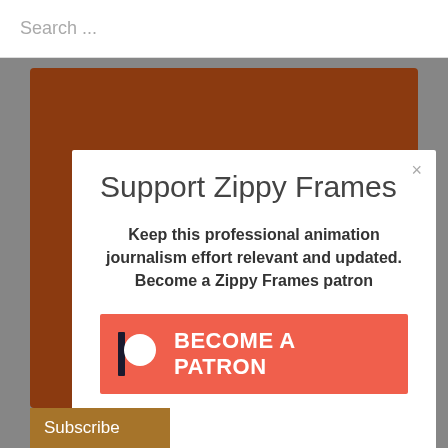Search ...
Support Zippy Frames
Keep this professional animation journalism effort relevant and updated. Become a Zippy Frames patron
BECOME A PATRON
Subscribe